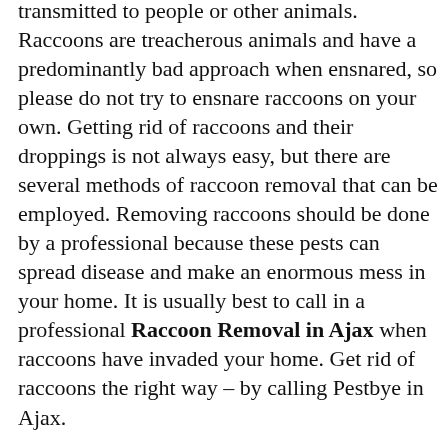distemper, which can be hazardous to unvaccinated dogs and rabies, which can be transmitted to people or other animals. Raccoons are treacherous animals and have a predominantly bad approach when ensnared, so please do not try to ensnare raccoons on your own. Getting rid of raccoons and their droppings is not always easy, but there are several methods of raccoon removal that can be employed. Removing raccoons should be done by a professional because these pests can spread disease and make an enormous mess in your home. It is usually best to call in a professional Raccoon Removal in Ajax when raccoons have invaded your home. Get rid of raccoons the right way – by calling Pestbye in Ajax.
Pestbye Service Areas
Pest Control in Milton